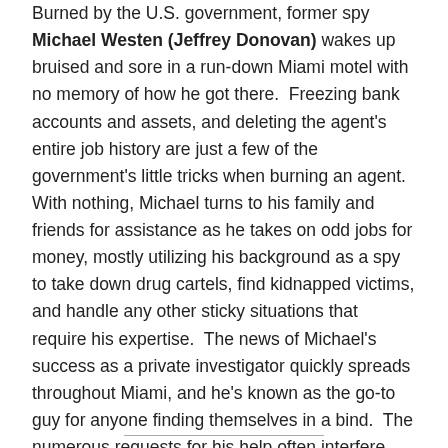Burned by the U.S. government, former spy Michael Westen (Jeffrey Donovan) wakes up bruised and sore in a run-down Miami motel with no memory of how he got there.  Freezing bank accounts and assets, and deleting the agent's entire job history are just a few of the government's little tricks when burning an agent.  With nothing, Michael turns to his family and friends for assistance as he takes on odd jobs for money, mostly utilizing his background as a spy to take down drug cartels, find kidnapped victims, and handle any other sticky situations that require his expertise.  The news of Michael's success as a private investigator quickly spreads throughout Miami, and he's known as the go-to guy for anyone finding themselves in a bind.  The numerous requests for his help often interfere with his only goal – discovering the truth behind his burn notice.